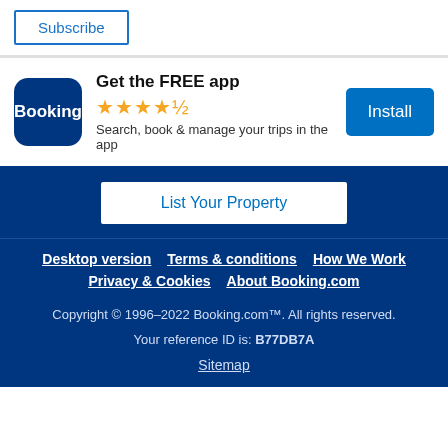Subscribe
[Figure (logo): Booking.com app icon - blue rounded square with white Booking text]
Get the FREE app
★★★★½ rating stars
Search, book & manage your trips in the app
Install
List Your Property
Desktop version   Terms & conditions   How We Work
Privacy & Cookies   About Booking.com
Copyright © 1996–2022 Booking.com™. All rights reserved.
Your reference ID is: B77DB7A
Sitemap